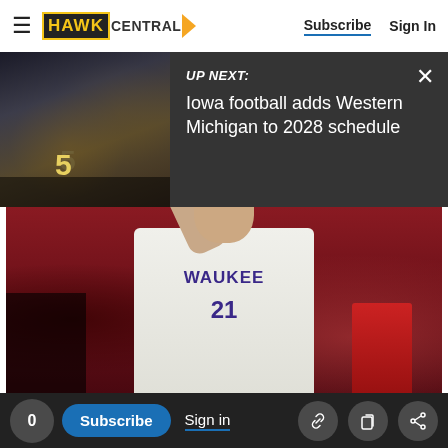HAWK CENTRAL — Subscribe | Sign In
UP NEXT: Iowa football adds Western Michigan to 2028 schedule
[Figure (photo): Basketball player wearing Waukee #21 jersey, arm raised, playing in game with red-background arena]
0  Subscribe  Sign in  [share icons]